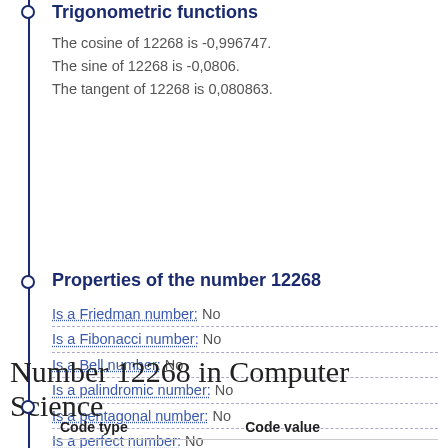Trigonometric functions
The cosine of 12268 is -0,996747.
The sine of 12268 is -0,0806.
The tangent of 12268 is 0,080863.
Properties of the number 12268
Is a Friedman number: No
Is a Fibonacci number: No
Is a Bell number: No
Is a palindromic number: No
Is a pentagonal number: No
Is a perfect number: No
Number 12268 in Computer Science
| Code type | Code value |
| --- | --- |